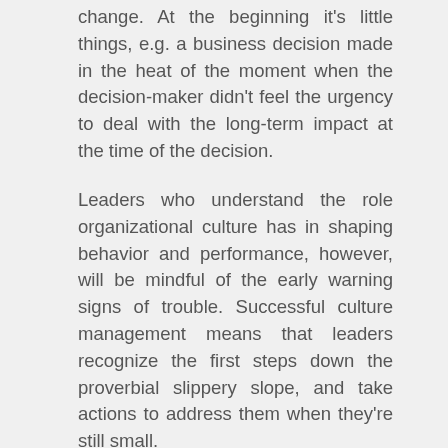change. At the beginning it's little things, e.g. a business decision made in the heat of the moment when the decision-maker didn't feel the urgency to deal with the long-term impact at the time of the decision.
Leaders who understand the role organizational culture has in shaping behavior and performance, however, will be mindful of the early warning signs of trouble. Successful culture management means that leaders recognize the first steps down the proverbial slippery slope, and take actions to address them when they're still small.
To do that, leadership must have a clear sense of a) what kind of culture is needed to achieve the organization's goals, and b) what behaviors are needed to ensure that the desired culture is sustained. Successful leaders know that the small things matter greatly, and that veering off course is not to be done